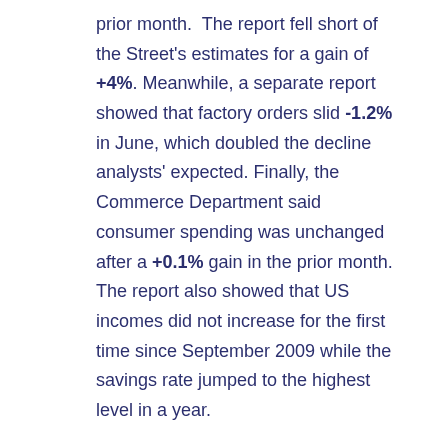prior month.  The report fell short of the Street's estimates for a gain of +4%. Meanwhile, a separate report showed that factory orders slid -1.2% in June, which doubled the decline analysts' expected. Finally, the Commerce Department said consumer spending was unchanged after a +0.1% gain in the prior month. The report also showed that US incomes did not increase for the first time since September 2009 while the savings rate jumped to the highest level in a year.
Wednesday-Friday- Stocks Consolidate:
Stocks edged higher on Wednesday after two favorable economic reports were released. The